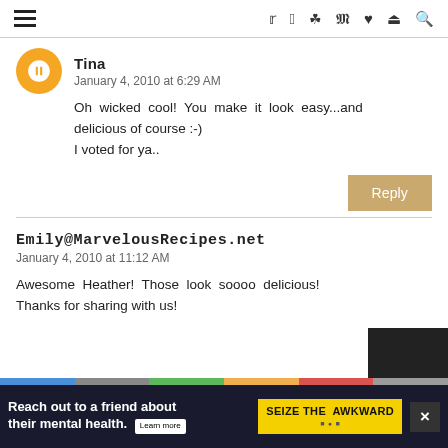Navigation bar with hamburger menu and social icons
Tina
January 4, 2010 at 6:29 AM
Oh wicked cool! You make it look easy...and delicious of course :-)
I voted for ya..
Reply
Emily@MarvelousRecipes.net
January 4, 2010 at 11:12 AM
Awesome Heather! Those look soooo delicious! Thanks for sharing with us!
[Figure (infographic): Ad banner: Reach out to a friend about their mental health. SEIZE THE AWKWARD. Learn more.]